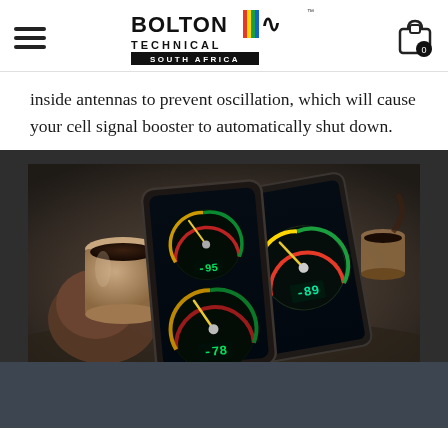Bolton Technical South Africa (logo and navigation)
inside antennas to prevent oscillation, which will cause your cell signal booster to automatically shut down.
[Figure (photo): Person holding a smartphone displaying signal strength meter app gauges, with a coffee cup in the background on a wooden surface.]